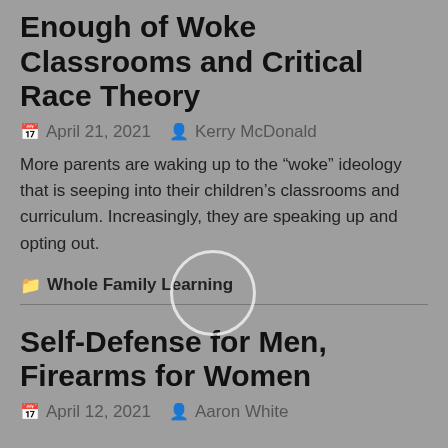Enough of Woke Classrooms and Critical Race Theory
April 21, 2021   Kerry McDonald
More parents are waking up to the “woke” ideology that is seeping into their children’s classrooms and curriculum. Increasingly, they are speaking up and opting out.
Whole Family Learning
Self-Defense for Men, Firearms for Women
April 12, 2021   Aaron White